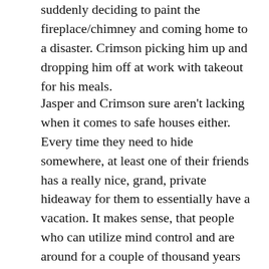suddenly deciding to paint the fireplace/chimney and coming home to a disaster. Crimson picking him up and dropping him off at work with takeout for his meals.
Jasper and Crimson sure aren't lacking when it comes to safe houses either. Every time they need to hide somewhere, at least one of their friends has a really nice, grand, private hideaway for them to essentially have a vacation. It makes sense, that people who can utilize mind control and are around for a couple of thousand years can stash up money.
The theme of naming each chapter after classic rock song titles continues in this book and it tickles me every time I see it. Maybe it's because of my familiarity with the source material, but I enjoy guessing how the songs tie into what's happening in the chapter and it really sets the scenes in a detailed and evolved way.